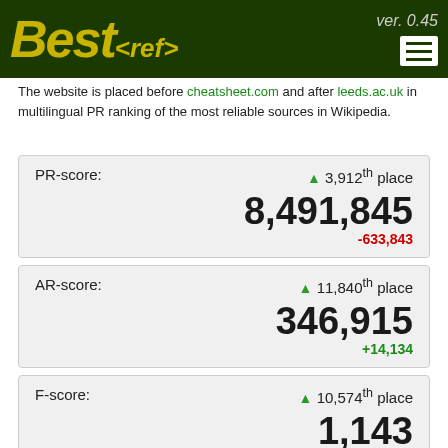Best<ref> ver. 0.45
The website is placed before cheatsheet.com and after leeds.ac.uk in multilingual PR ranking of the most reliable sources in Wikipedia.
| Score | Place | Value | Delta |
| --- | --- | --- | --- |
| PR-score: | ▲ 3,912th place | 8,491,845 | -633,843 |
| AR-score: | ▲ 11,840th place | 346,915 | +14,134 |
| F-score: | ▲ 10,574th place | 1,143 | +59 |